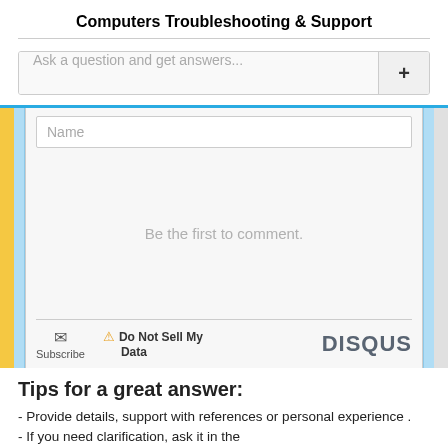Computers
Troubleshooting & Support
Ask a question and get answers...
Name
Be the first to comment.
Subscribe
Do Not Sell My Data
DISQUS
Tips for a great answer:
- Provide details, support with references or personal experience .
- If you need clarification, ask it in the